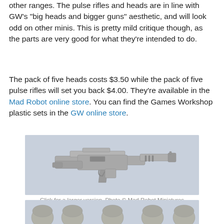other ranges. The pulse rifles and heads are in line with GW’s “big heads and bigger guns” aesthetic, and will look odd on other minis. This is pretty mild critique though, as the parts are very good for what they’re intended to do.
The pack of five heads costs $3.50 while the pack of five pulse rifles will set you back $4.00. They’re available in the Mad Robot online store. You can find the Games Workshop plastic sets in the GW online store.
[Figure (photo): A grey plastic pulse rifle miniature part photographed against a light blue-grey background.]
Click for a larger version. Photo © Mad Robot Miniatures
[Figure (photo): Five grey plastic soldier heads with helmets, photographed against a light blue-grey background.]